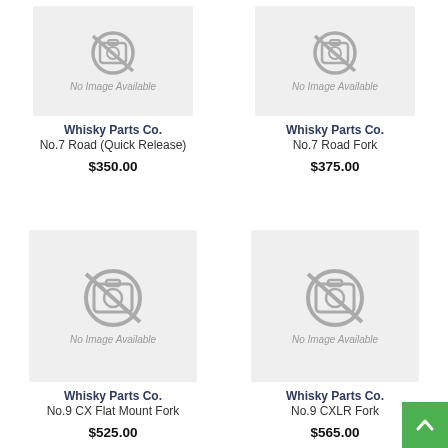[Figure (other): No Image Available placeholder for Whisky Parts Co. No.7 Road (Quick Release)]
Whisky Parts Co.
No.7 Road (Quick Release)
$350.00
[Figure (other): No Image Available placeholder for Whisky Parts Co. No.7 Road Fork]
Whisky Parts Co.
No.7 Road Fork
$375.00
[Figure (other): No Image Available placeholder for Whisky Parts Co. No.9 CX Flat Mount Fork]
Whisky Parts Co.
No.9 CX Flat Mount Fork
$525.00
[Figure (other): No Image Available placeholder for Whisky Parts Co. No.9 CXLR Fork]
Whisky Parts Co.
No.9 CXLR Fork
$565.00